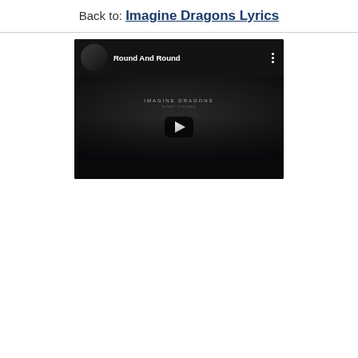Back to: Imagine Dragons Lyrics
[Figure (screenshot): YouTube video thumbnail for 'Round And Round' by Imagine Dragons. Dark background with band photo avatar, video title text, three-dot menu icon, Imagine Dragons branding text, and a YouTube play button in the center.]